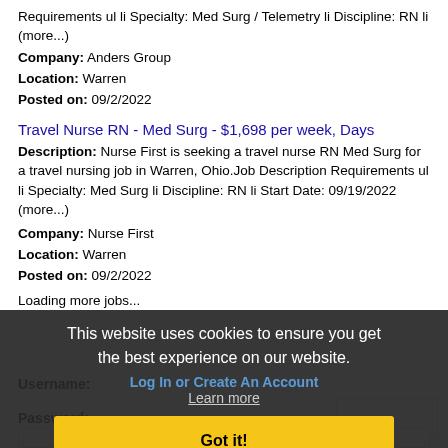Requirements ul li Specialty: Med Surg / Telemetry li Discipline: RN li (more...)
Company: Anders Group
Location: Warren
Posted on: 09/2/2022
Travel Nurse RN - Med Surg - $1,698 per week, Days
Description: Nurse First is seeking a travel nurse RN Med Surg for a travel nursing job in Warren, Ohio.Job Description Requirements ul li Specialty: Med Surg li Discipline: RN li Start Date: 09/19/2022 (more...)
Company: Nurse First
Location: Warren
Posted on: 09/2/2022
Loading more jobs...
This website uses cookies to ensure you get the best experience on our website.
Log In or Create An Account
Learn more
Got it!
Username:
Password: